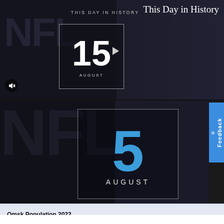This Day in History
[Figure (screenshot): Top video thumbnail section showing NFL background imagery with a video card displaying '15 AUGUST' with a play button, and a mute icon. Text overlay reads 'THIS DAY IN HISTORY'.]
[Figure (screenshot): Bottom main screenshot section showing NFL background with a large date card displaying '5 AUGUST' in blue and white text. A blue 'Feedback' tab is on the right side.]
Omsk Population 2022